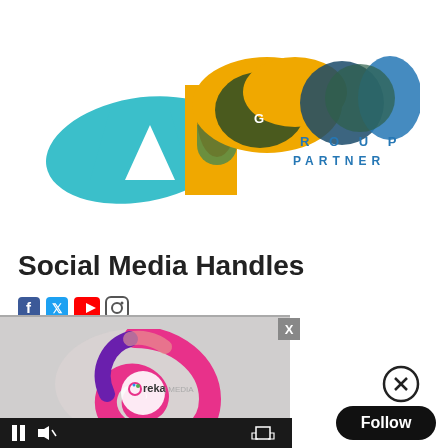[Figure (logo): APG Group Partner logo with colorful abstract shapes (teal, yellow/orange, olive green, dark teal/blue circles forming letters A, P, G) and text 'GROUP PARTNER' in blue spaced lettering]
Social Media Handles
[Figure (screenshot): Screenshot of a video player overlay showing Ureka Media logo (pink/magenta swirl with colorful dot and text 'ureka | MEDIA') on grey background, with video controls (pause button, audio icon, fullscreen icon) at the bottom]
[Figure (other): Close/X button (circled X icon) on the right side]
[Figure (other): Follow button (black pill-shaped button with white text 'Follow')]